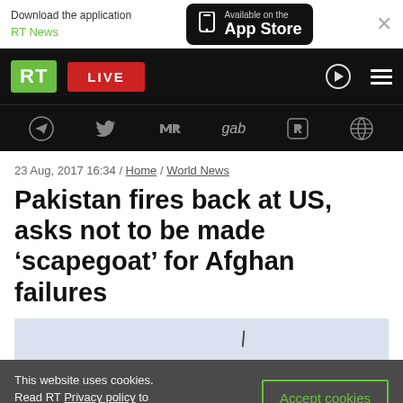Download the application RT News / Available on the App Store
[Figure (screenshot): RT News navigation bar with green RT logo, red LIVE button, search icon, and hamburger menu on black background]
[Figure (screenshot): Social media icons bar: Telegram, Twitter, VK, gab, Rumble, and globe icon on black background]
23 Aug, 2017 16:34 / Home / World News
Pakistan fires back at US, asks not to be made ‘scapegoat’ for Afghan failures
[Figure (photo): Partially loaded article image with light blue background and cursor arrow visible]
This website uses cookies. Read RT Privacy policy to find out more.